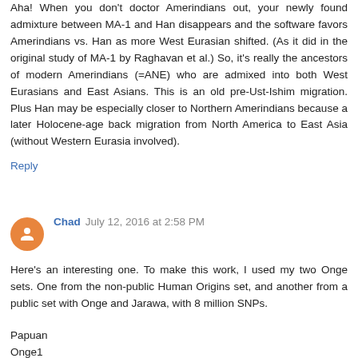Aha! When you don't doctor Amerindians out, your newly found admixture between MA-1 and Han disappears and the software favors Amerindians vs. Han as more West Eurasian shifted. (As it did in the original study of MA-1 by Raghavan et al.) So, it's really the ancestors of modern Amerindians (=ANE) who are admixed into both West Eurasians and East Asians. This is an old pre-Ust-Ishim migration. Plus Han may be especially closer to Northern Amerindians because a later Holocene-age back migration from North America to East Asia (without Western Eurasia involved).
Reply
Chad July 12, 2016 at 2:58 PM
Here's an interesting one. To make this work, I used my two Onge sets. One from the non-public Human Origins set, and another from a public set with Onge and Jarawa, with 8 million SNPs.
Papuan
Onge1